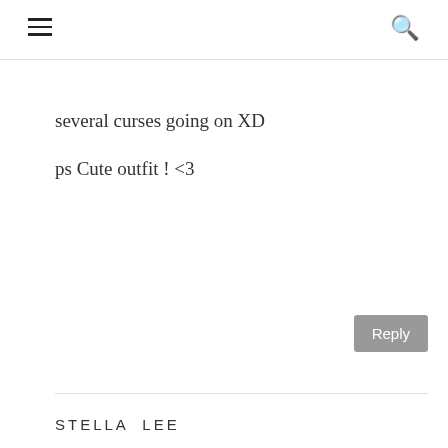≡  🔍
several curses going on XD
ps Cute outfit ! <3
Reply
STELLA LEE
July 4, 2011 at 6:31 AM
Yea, I dont want to come again if I have to buy for regular one later ):
thanksss =3
Reply